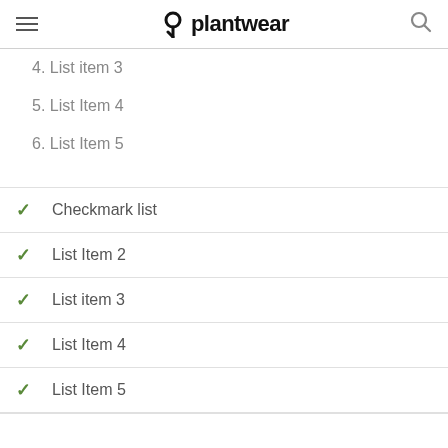plantwear
4. List item 3
5. List Item 4
6. List Item 5
✓ Checkmark list
✓ List Item 2
✓ List item 3
✓ List Item 4
✓ List Item 5